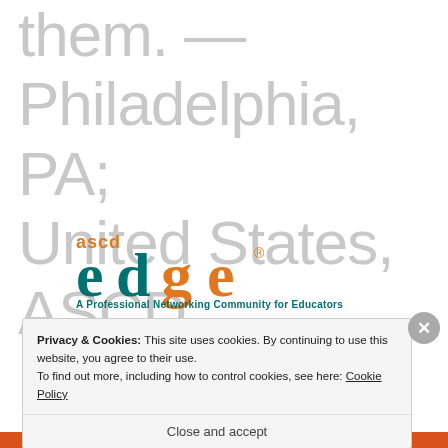them. — Philadelphia, PA; United States, ASCD EDge Blog post – A Professinal Networking Community for Educators
[Figure (logo): ASCD EDge logo — text 'ascd' in orange above large stylized 'edge' text in teal/orange, with registered trademark symbol, and tagline 'A Professional Networking Community for Educators' in teal bold text below.]
Privacy & Cookies: This site uses cookies. By continuing to use this website, you agree to their use.
To find out more, including how to control cookies, see here: Cookie Policy
Close and accept